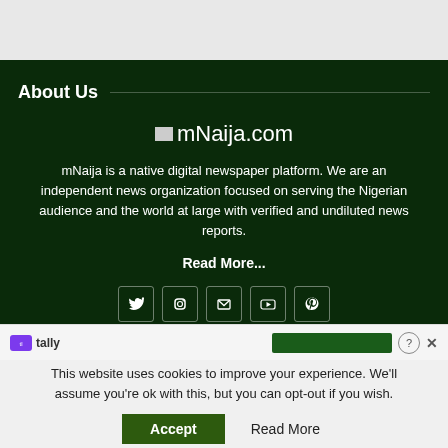About Us
[Figure (logo): mNaija.com logo with small image placeholder icon]
mNaija is a native digital newspaper platform. We are an independent news organization focused on serving the Nigerian audience and the world at large with verified and undiluted news reports.
Read More...
[Figure (other): Social media icons row: Twitter, Instagram, Email, YouTube, Pinterest]
[Figure (screenshot): Tally form bar with logo, input bar, help and close buttons]
This website uses cookies to improve your experience. We'll assume you're ok with this, but you can opt-out if you wish.
Accept   Read More